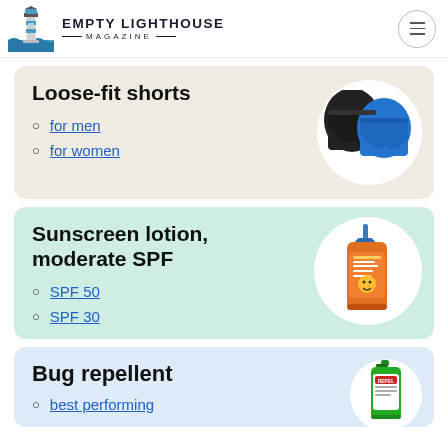EMPTY LIGHTHOUSE MAGAZINE
Loose-fit shorts
for men
for women
[Figure (photo): Black and blue loose-fit athletic shorts]
Sunscreen lotion, moderate SPF
SPF 50
SPF 30
[Figure (photo): Orange bottle of Repel Sport sunscreen lotion with pump]
Bug repellent
best performing
[Figure (photo): Green spray bottle of Repel bug repellent]